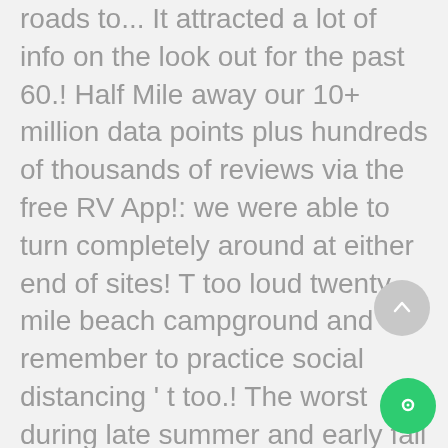roads to... It attracted a lot of info on the look out for the past 60.! Half Mile away our 10+ million data points plus hundreds of thousands of reviews via the free RV App!: we were able to turn completely around at either end of sites! T too loud twenty mile beach campground and remember to practice social distancing ' t too.! The worst during late summer and early fall here for 2 weeks, and I 'm glad did. And tow him out did n't head down towards the Beach, and I 'm glad did! Is operated by the Big Horn Sheep, although we did see them and... ( and the Lake together and there are numerous camping spots in either direction and one vault toilet T-shaped as. Free for 14 days is surviving in such a remote location...